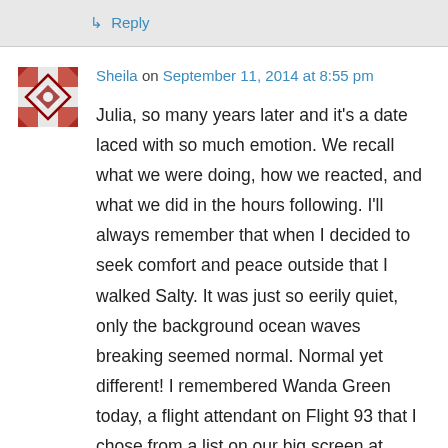↳ Reply
Sheila on September 11, 2014 at 8:55 pm
Julia, so many years later and it's a date laced with so much emotion. We recall what we were doing, how we reacted, and what we did in the hours following. I'll always remember that when I decided to seek comfort and peace outside that I walked Salty. It was just so eerily quiet, only the background ocean waves breaking seemed normal. Normal yet different! I remembered Wanda Green today, a flight attendant on Flight 93 that I chose from a list on our big screen at church on the following Sunday. We are united here today in love and faith. Thank you, my